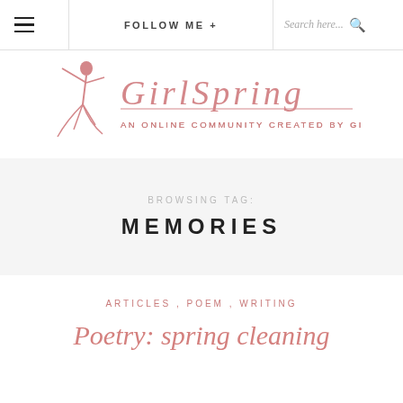FOLLOW ME +   Search here...
[Figure (logo): GirlSpring logo — dancing figure silhouette in pink with stylized italic text 'GirlSpring' in pink and subtitle 'AN ONLINE COMMUNITY CREATED BY GIRLS FOR GIRLS']
BROWSING TAG: MEMORIES
ARTICLES , POEM , WRITING
Poetry: spring cleaning